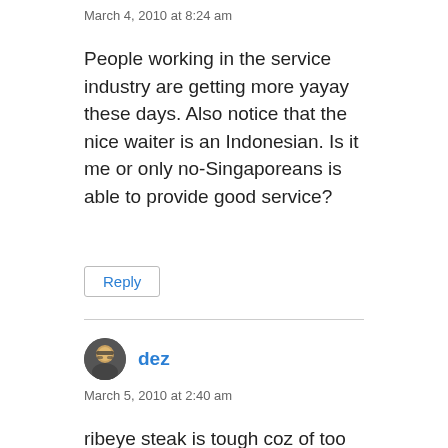March 4, 2010 at 8:24 am
People working in the service industry are getting more yayay these days. Also notice that the nice waiter is an Indonesian. Is it me or only no-Singaporeans is able to provide good service?
Reply
dez
March 5, 2010 at 2:40 am
ribeye steak is tough coz of too much fat… talk abt sh*t for brains… the guy obviously doesn't